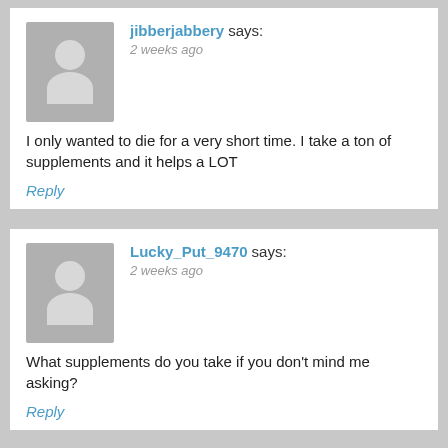jibberjabbery says: 2 weeks ago
I only wanted to die for a very short time. I take a ton of supplements and it helps a LOT
Reply
Lucky_Put_9470 says: 2 weeks ago
What supplements do you take if you don't mind me asking?
Reply
jibberjabbery says: 2 weeks ago
Allegra, b12 in higher doses, b6, d3 in a